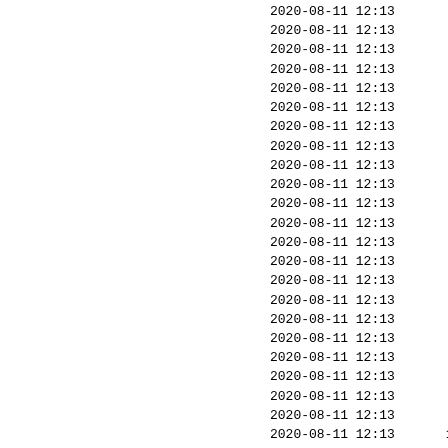| datetime | value |
| --- | --- |
| 2020-08-11 12:13 | 3359 |
| 2020-08-11 12:13 | 5377 |
| 2020-08-11 12:13 | 4851 |
| 2020-08-11 12:13 | 5423 |
| 2020-08-11 12:13 | 645 |
| 2020-08-11 12:13 | 645 |
| 2020-08-11 12:13 | 645 |
| 2020-08-11 12:13 | 8168 |
| 2020-08-11 12:13 | 7573 |
| 2020-08-11 12:13 | 8168 |
| 2020-08-11 12:13 | 951 |
| 2020-08-11 12:13 | 951 |
| 2020-08-11 12:13 | 951 |
| 2020-08-11 12:13 | 1056 |
| 2020-08-11 12:13 | 1056 |
| 2020-08-11 12:13 | 1056 |
| 2020-08-11 12:13 | 1507 |
| 2020-08-11 12:13 | 1387 |
| 2020-08-11 12:13 | 1507 |
| 2020-08-11 12:13 | 5727 |
| 2020-08-11 12:13 | 5673 |
| 2020-08-11 12:13 | 5759 |
| 2020-08-11 12:13 | 10741 |
| 2020-08-11 12:13 | 7436 |
| 2020-08-11 12:13 | 10741 |
| 2020-08-11 12:13 | 4947 |
| 2020-08-11 12:13 | 3467 |
| 2020-08-11 12:13 | 4980 |
| 2020-08-11 12:13 | 10206 |
| 2020-08-11 12:13 | 8391 |